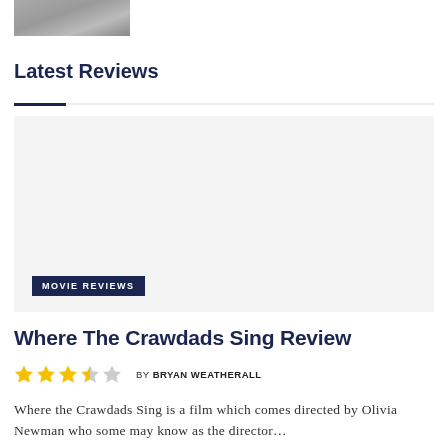[Figure (photo): Partial thumbnail image at top of page, appears to be a movie still or screenshot, mostly grey/blue tones]
Latest Reviews
[Figure (photo): Large light grey placeholder image for a movie review article with a 'MOVIE REVIEWS' badge at the bottom left]
Where The Crawdads Sing Review
BY BRYAN WEATHERALL
Where the Crawdads Sing is a film which comes directed by Olivia Newman who some may know as the director...